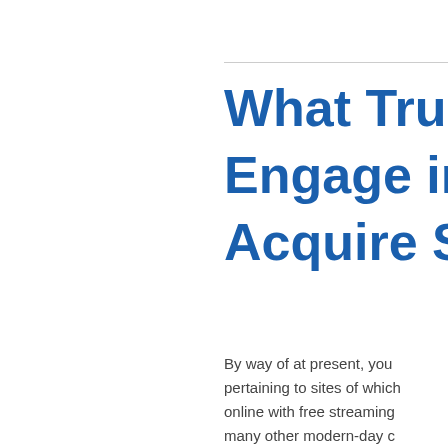What Trustwo... Engage in Onl... Acquire Settle...
By way of at present, you pertaining to sites of which online with free streaming many other modern-day c necessarily wind up being websites like these for this line casino video game tit...